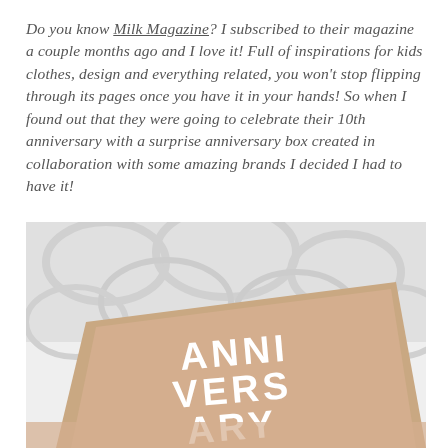Do you know Milk Magazine? I subscribed to their magazine a couple months ago and I love it! Full of inspirations for kids clothes, design and everything related, you won't stop flipping through its pages once you have it in your hands! So when I found out that they were going to celebrate their 10th anniversary with a surprise anniversary box created in collaboration with some amazing brands I decided I had to have it!
[Figure (photo): A beige/tan anniversary box with white text reading 'ANNIVERSARY BOX' (split across multiple lines as ANNI VERS ARY BOX), photographed at an angle on a white textured fabric background.]